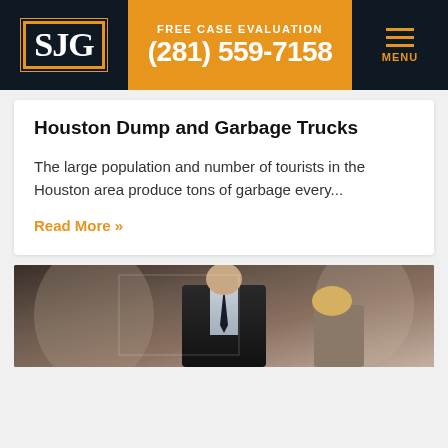SJG | FREE CASE EVALUATION (281) 559-7158 | MENU
Houston Dump and Garbage Trucks
The large population and number of tourists in the Houston area produce tons of garbage every...
Read More »
[Figure (photo): A person in a dark suit sitting at a table, suggesting a legal consultation or business meeting setting.]